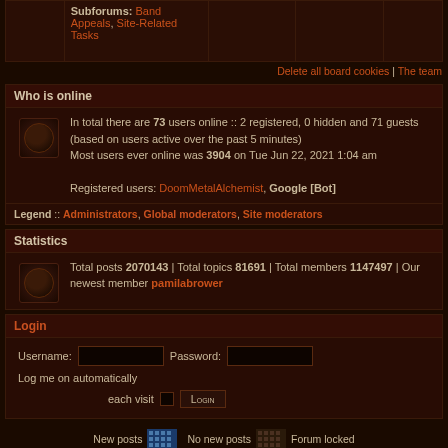|  | Subforums |  |  |  |
| --- | --- | --- | --- | --- |
|  | Band Appeals, Site-Related Tasks |  |  |  |
Delete all board cookies | The team
Who is online
In total there are 73 users online :: 2 registered, 0 hidden and 71 guests (based on users active over the past 5 minutes)
Most users ever online was 3904 on Tue Jun 22, 2021 1:04 am
Registered users: DoomMetalAlchemist, Google [Bot]
Legend :: Administrators, Global moderators, Site moderators
Statistics
Total posts 2070143 | Total topics 81691 | Total members 1147497 | Our newest member pamilabrower
Login
Username: [input] Password: [input] Log me on automatically each visit [checkbox] LOGIN
New posts [icon] No new posts [icon] Forum locked
Back to the Encyclopaedia Metallum
Powered by phpBB © 2000, 2002, 2005, 2007 phpBB Group